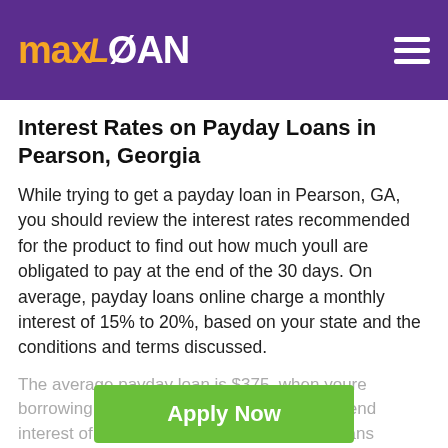maxLOAN
Interest Rates on Payday Loans in Pearson, Georgia
While trying to get a payday loan in Pearson, GA, you should review the interest rates recommended for the product to find out how much youll are obligated to pay at the end of the 30 days. On average, payday loans online charge a monthly interest of 15% to 20%, based on your state and the conditions and terms discussed.
The average payday loan is $375, when youre borrowing this particular amount, you will spend interest of among $56.25 plus $75. That means intended for interest of... When the interest is $75, youll be subjected to a 521% APR. It is
Apply Now
Applying does NOT affect your credit score!
No credit check to apply.